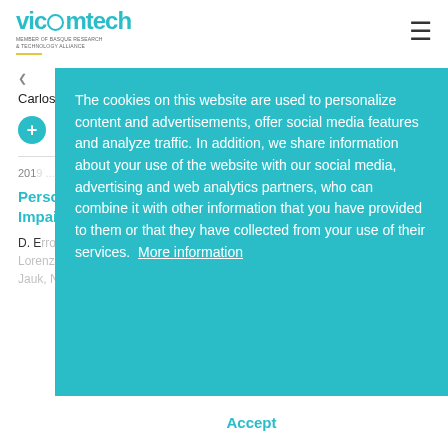[Figure (logo): Vicomtech logo with teal text and 'Member of Basque Research & Technology Alliance' subtitle]
Carlos To...
PDF
2019 ...
Personalized Synthetic Voices for Speaking Impaired: Website and App
D. Erro, Inma Hernaez, Agustin Alonso, D. García-Lorenzo, Eva Navas, J. Ye, Haritz Arzelus Irazusta, Igor Jauk, N. Q. Hy, C. Magariños, R. Pérez-Ramón, M. Sulír,
The cookies on this website are used to personalize content and advertisements, offer social media features and analyze traffic. In addition, we share information about your use of the website with our social media, advertising and web analytics partners, who can combine it with other information that you have provided to them or that they have collected from your use of their services.  More information
Accept